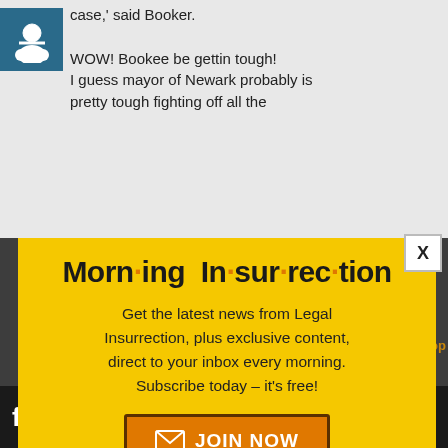case,' said Booker.
WOW! Bookee be gettin tough! I guess mayor of Newark probably is pretty tough fighting off all the
[Figure (screenshot): Yellow popup modal for Morning Insurrection newsletter signup with JOIN NOW button]
[Figure (screenshot): Fiverr advertisement bar at bottom with Start Now button]